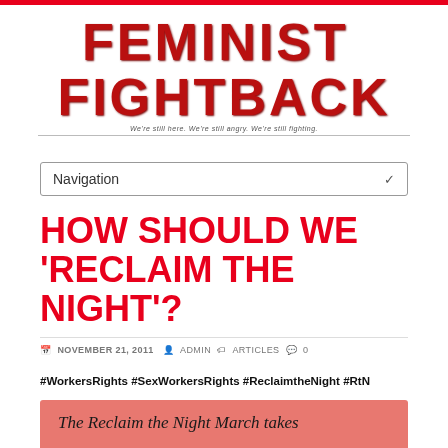[Figure (logo): Feminist Fightback logo with large stylized text and subtitle: We're still here. We're still angry. We're still fighting.]
Navigation
HOW SHOULD WE 'RECLAIM THE NIGHT'?
NOVEMBER 21, 2011  ADMIN  ARTICLES  0
#WorkersRights #SexWorkersRights #ReclaimtheNight #RtN
The Reclaim the Night March takes